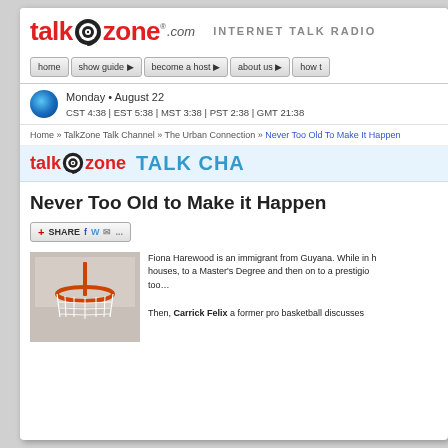[Figure (logo): TalkZone.com logo with spiral microphone icon and 'INTERNET TALK RADIO' tagline]
[Figure (screenshot): Navigation bar with buttons: home, show guide, become a host, about us, how to]
Monday • August 22
CST 4:38 | EST 5:38 | MST 3:38 | PST 2:38 | GMT 21:38
Home » TalkZone Talk Channel » The Urban Connection » Never Too Old To Make It Happen
[Figure (logo): TalkZone Talk Channel banner]
Never Too Old to Make it Happen
[Figure (other): Share button with social media icons (Facebook, Twitter, email)]
[Figure (photo): Basketball hoop photo]
Fiona Harewood is an immigrant from Guyana. While in h... houses, to a Master's Degree and then on to a prestigio... too…
Then, Carrick Felix a former pro basketball discusses...